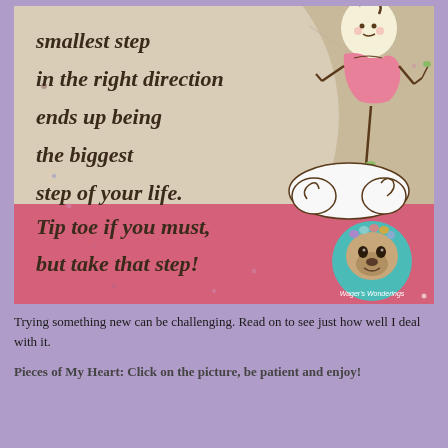[Figure (illustration): Motivational quote card with beige/tan background, large circle element, pink bottom section, cartoon fairy girl in pink dress floating above a decorative cloud, and a pug dog circular badge in the bottom right reading 'Wager's Wonderings'. The quote reads: 'smallest step in the right direction ends up being the biggest step of your life. Tip toe if you must, but take that step!']
Trying something new can be challenging. Read on to see just how well I deal with it.
Pieces of My Heart: Click on the picture, be patient and enjoy!